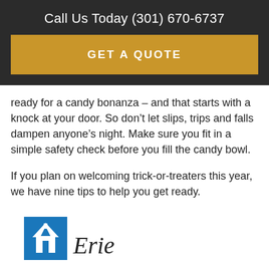Call Us Today (301) 670-6737
GET A QUOTE
ready for a candy bonanza – and that starts with a knock at your door. So don’t let slips, trips and falls dampen anyone’s night. Make sure you fit in a simple safety check before you fill the candy bowl.
If you plan on welcoming trick-or-treaters this year, we have nine tips to help you get ready.
[Figure (logo): Erie Insurance logo: blue square with white capitol building icon, followed by italic text 'Erie']